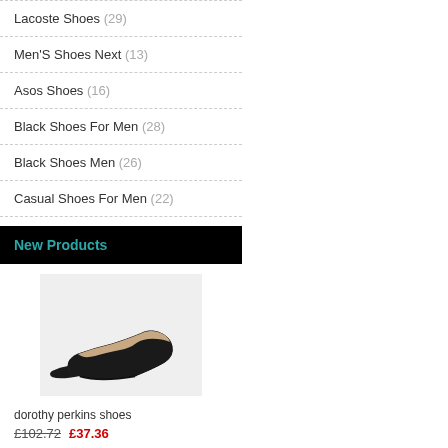Lacoste Shoes (29)
Men'S Shoes Next (13)
Asos Shoes (16)
Black Shoes For Men (28)
Black Shoes Men (26)
Casual Shoes For Men (22)
Clark Shoes Uk (22)
New Products
[Figure (photo): Black patent leather high heel stiletto pump shoe on a light grey background]
dorothy perkins shoes
£102.72  £37.36